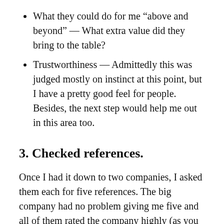What they could do for me “above and beyond” — What extra value did they bring to the table?
Trustworthiness — Admittedly this was judged mostly on instinct at this point, but I have a pretty good feel for people. Besides, the next step would help me out in this area too.
3. Checked references.
Once I had it down to two companies, I asked them each for five references. The big company had no problem giving me five and all of them rated the company highly (as you might expect).